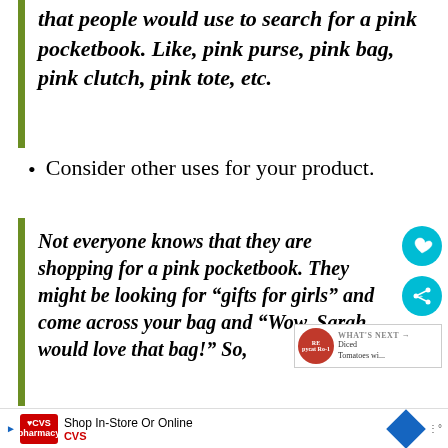that people would use to search for a pink pocketbook. Like, pink purse, pink bag, pink clutch, pink tote, etc.
Consider other uses for your product.
Not everyone knows that they are shopping for a pink pocketbook. They might be looking for “gifts for girls” and come across your bag and “Wow, Sarah would love that bag!” So,